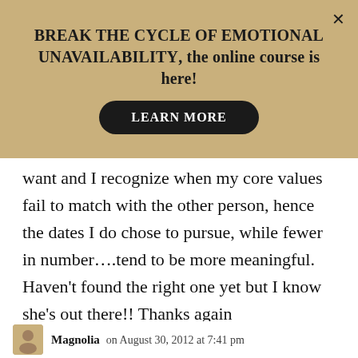BREAK THE CYCLE OF EMOTIONAL UNAVAILABILITY, the online course is here!
LEARN MORE
want and I recognize when my core values fail to match with the other person, hence the dates I do chose to pursue, while fewer in number....tend to be more meaningful. Haven’t found the right one yet but I know she’s out there!! Thanks again
Magnolia on August 30, 2012 at 7:41 pm